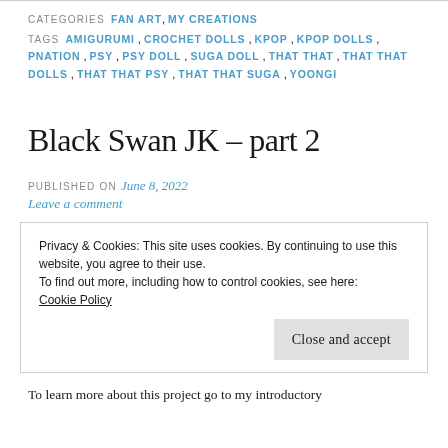CATEGORIES  FAN ART, MY CREATIONS
TAGS  AMIGURUMI, CROCHET DOLLS, KPOP, KPOP DOLLS, PNATION, PSY, PSY DOLL, SUGA DOLL, THAT THAT, THAT THAT DOLLS, THAT THAT PSY, THAT THAT SUGA, YOONGI
Black Swan JK – part 2
PUBLISHED ON June 8, 2022
Leave a comment
Privacy & Cookies: This site uses cookies. By continuing to use this website, you agree to their use.
To find out more, including how to control cookies, see here:
Cookie Policy
Close and accept
To learn more about this project go to my introductory